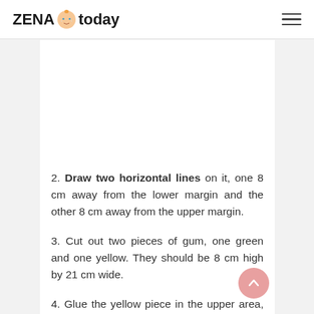ZENA today
2. Draw two horizontal lines on it, one 8 cm away from the lower margin and the other 8 cm away from the upper margin.
3. Cut out two pieces of gum, one green and one yellow. They should be 8 cm high by 21 cm wide.
4. Glue the yellow piece in the upper area, and the green piece in the lower